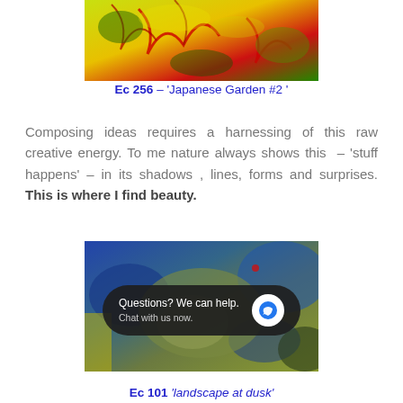[Figure (photo): Abstract colorful painting with red, yellow, and green tones — Japanese Garden #2]
Ec 256  – 'Japanese Garden #2 '
Composing ideas requires a harnessing of this raw creative energy. To me nature always shows this  – 'stuff happens' – in its shadows , lines, forms and surprises. This is where I find beauty.
[Figure (photo): Abstract painting with blue, olive green, and yellow tones, suggesting a landscape at dusk. Chat overlay visible: 'Questions? We can help. Chat with us now.']
Ec 101 'landscape at dusk'